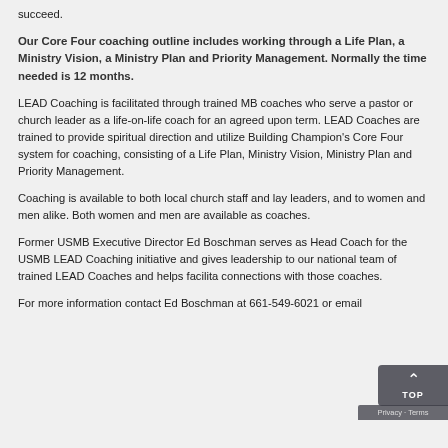succeed.
Our Core Four coaching outline includes working through a Life Plan, a Ministry Vision, a Ministry Plan and Priority Management. Normally the time needed is 12 months.
LEAD Coaching is facilitated through trained MB coaches who serve a pastor or church leader as a life-on-life coach for an agreed upon term. LEAD Coaches are trained to provide spiritual direction and utilize Building Champion’s Core Four system for coaching, consisting of a Life Plan, Ministry Vision, Ministry Plan and Priority Management.
Coaching is available to both local church staff and lay leaders, and to women and men alike. Both women and men are available as coaches.
Former USMB Executive Director Ed Boschman serves as Head Coach for the USMB LEAD Coaching initiative and gives leadership to our national team of trained LEAD Coaches and helps facilita… connections with those coaches.
For more information contact Ed Boschman at 661-549-6021 or email